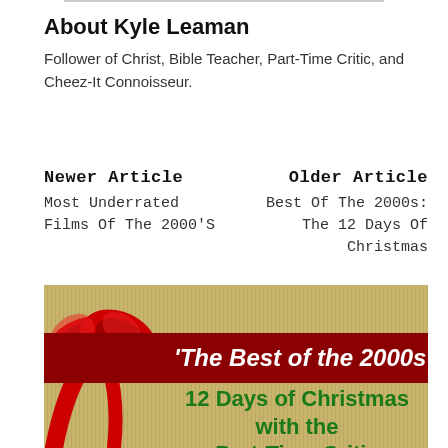About Kyle Leaman
Follower of Christ, Bible Teacher, Part-Time Critic, and Cheez-It Connoisseur.
Newer Article
Most Underrated Films Of The 2000'S
Older Article
Best Of The 2000s: The 12 Days Of Christmas
[Figure (illustration): Promotional image with a Christmas theme featuring a red ribbon bow on the left, a dark red banner reading '‘The Best of the 2000s’' and green bold text below reading '12 Days of Christmas with the Part-Time Critic' on a tan/gold striped background.]